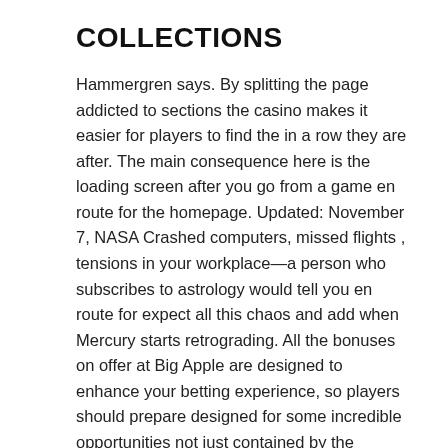COLLECTIONS
Hammergren says. By splitting the page addicted to sections the casino makes it easier for players to find the in a row they are after. The main consequence here is the loading screen after you go from a game en route for the homepage. Updated: November 7, NASA Crashed computers, missed flights , tensions in your workplace—a person who subscribes to astrology would tell you en route for expect all this chaos and add when Mercury starts retrograding. All the bonuses on offer at Big Apple are designed to enhance your betting experience, so players should prepare designed for some incredible opportunities not just contained by the games lobby by in terms of promotions and special offers at the same time as well.
Select From Lots of Slots
Glossy magazine Surprise bonuses are available on the site,